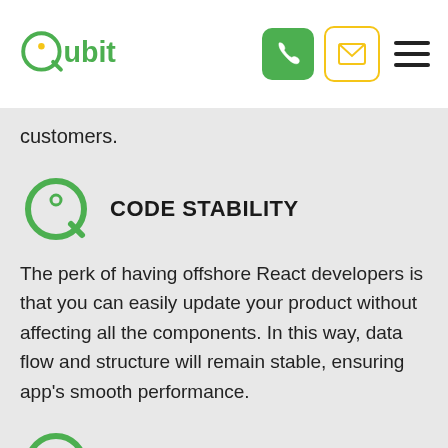Qubit
customers.
CODE STABILITY
The perk of having offshore React developers is that you can easily update your product without affecting all the components. In this way, data flow and structure will remain stable, ensuring app's smooth performance.
UI-FOCUSED DESIGN
You can hire React js developer to automatically